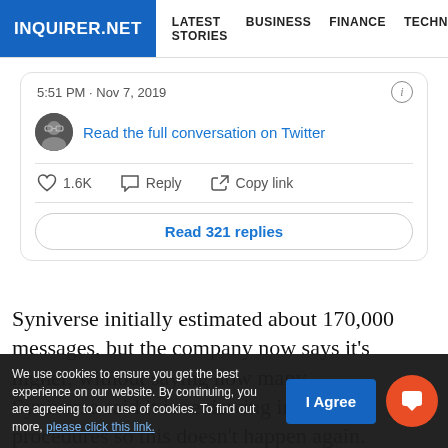INQUIRER.NET | LATEST STORIES | BUSINESS | FINANCE | TECHNOLO
[Figure (screenshot): Embedded tweet showing timestamp 5:51 PM · Nov 7, 2019 with info icon, user avatar, 'Read the full conversation on Twitter' link, like count 1.6K, Reply and Copy link actions, and 'Read 321 replies' button]
Syniverse initially estimated about 170,000 messages, but the company now says it's higher, without saying how many. Syniverse said it is reviewing internal procedures so this doesn't happen again. Syniverse typically deletes
We use cookies to ensure you get the best experience on our website. By continuing, you are agreeing to our use of cookies. To find out more, please click this link.